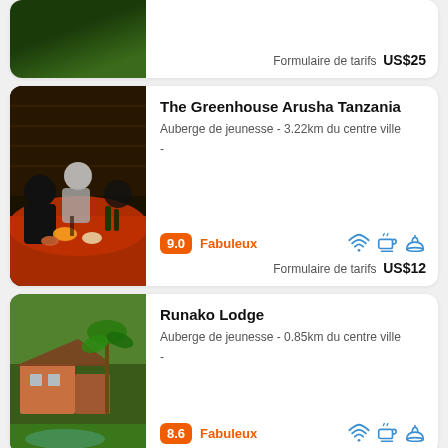[Figure (photo): Partial top card showing a green lawn/garden photo, cropped]
Formulaire de tarifs  US$25
[Figure (photo): Photo of people dining at a table with red tablecloth, food, indoor scene]
The Greenhouse Arusha Tanzania
Auberge de jeunesse - 3.22km du centre ville
-
9.0  Fabuleux
Formulaire de tarifs  US$12
[Figure (photo): Photo of a lodge with palm trees, garden and pool]
Runako Lodge
Auberge de jeunesse - 0.85km du centre ville
-
8.6  Fabuleux